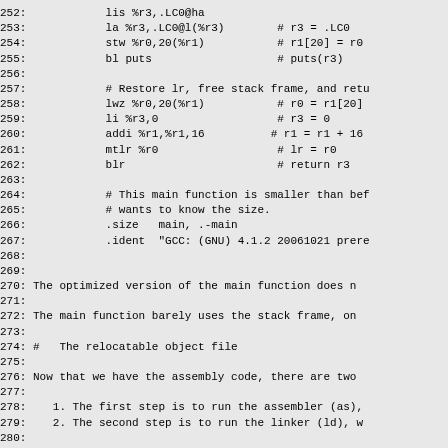252:            lis %r3,.LC0@ha
253:            la %r3,.LC0@l(%r3)        # r3 = .LC0
254:            stw %r0,20(%r1)           # r1[20] = r0
255:            bl puts                   # puts(r3)
256:
257:            # Restore lr, free stack frame, and retu
258:            lwz %r0,20(%r1)           # r0 = r1[20]
259:            li %r3,0                  # r3 = 0
260:            addi %r1,%r1,16          # r1 = r1 + 16
261:            mtlr %r0                  # lr = r0
262:            blr                       # return r3
263:
264:            # This main function is smaller than bef
265:            # wants to know the size.
266:            .size   main, .-main
267:            .ident  "GCC: (GNU) 4.1.2 20061021 prere
268:
269:
270: The optimized version of the main function does n
271:
272: The main function barely uses the stack frame, on
273:
274: #   The relocatable object file
275:
276: Now that we have the assembly code, there are two
277:
278:    1. The first step is to run the assembler (as),
279:    2. The second step is to run the linker (ld), w
280:
281: There are various tools that can examine ELF file